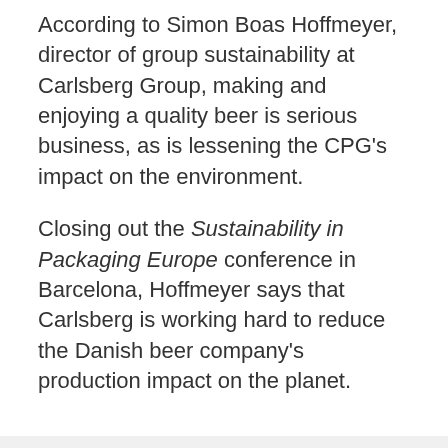According to Simon Boas Hoffmeyer, director of group sustainability at Carlsberg Group, making and enjoying a quality beer is serious business, as is lessening the CPG's impact on the environment.
Closing out the Sustainability in Packaging Europe conference in Barcelona, Hoffmeyer says that Carlsberg is working hard to reduce the Danish beer company's production impact on the planet.
Advertisement
[Figure (infographic): Advertisement banner: 'Precise. Resilient. Hygenic. New Washdown' with an image of metal hardware components on a grey background.]